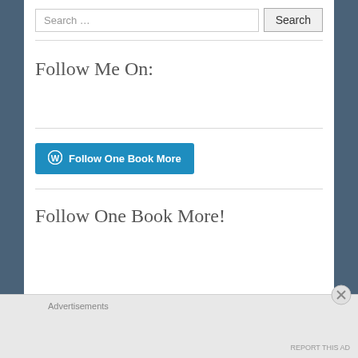Search …
Follow Me On:
Follow One Book More
Follow One Book More!
Advertisements
REPORT THIS AD